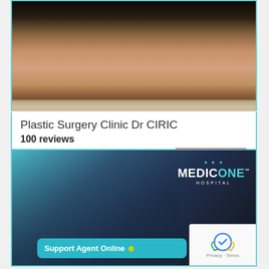[Figure (photo): Portrait photo of Dr. Ciric, a man in a beige blazer and black v-neck shirt]
Plastic Surgery Clinic Dr CIRIC
100 reviews
Belgrado, Serbia
Recommended
[Figure (photo): Group photo of medical staff in scrubs in front of MEDICONE HOSPITAL branding, with Support Agent Online button at the bottom right]
Support Agent Online